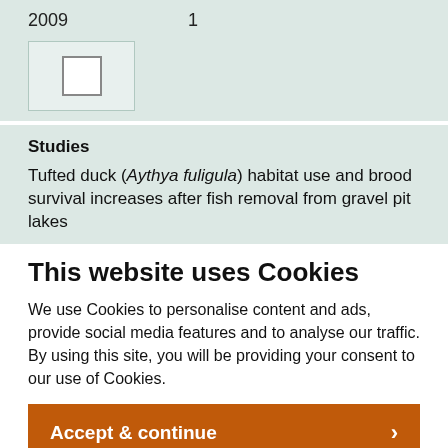| 2009 | 1 |
[Figure (other): A checkbox (empty square) cell in a light green table row]
Studies
Tufted duck (Aythya fuligula) habitat use and brood survival increases after fish removal from gravel pit lakes
This website uses Cookies
We use Cookies to personalise content and ads, provide social media features and to analyse our traffic. By using this site, you will be providing your consent to our use of Cookies.
Accept & continue